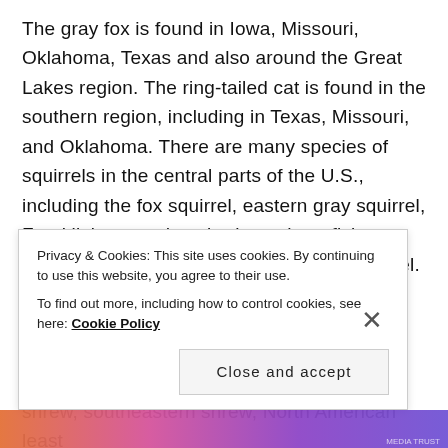The gray fox is found in Iowa, Missouri, Oklahoma, Texas and also around the Great Lakes region. The ring-tailed cat is found in the southern region, including in Texas, Missouri, and Oklahoma. There are many species of squirrels in the central parts of the U.S., including the fox squirrel, eastern gray squirrel, Franklin's ground squirrel, southern flying squirrel, and the thirteen-lined ground squirrel. Voles include the prairie vole, woodland vole and the meadow vole. The plains pocket gopher lives throughout the Great Plains. Shrews include the cinereus shrew, southeastern shrew, North American least
Privacy & Cookies: This site uses cookies. By continuing to use this website, you agree to their use.
To find out more, including how to control cookies, see here: Cookie Policy